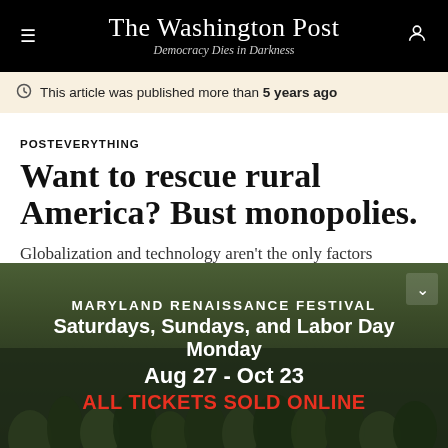The Washington Post — Democracy Dies in Darkness
This article was published more than 5 years ago
POSTEVERYTHING
Want to rescue rural America? Bust monopolies.
Globalization and technology aren't the only factors crushing the heartland.
[Figure (photo): Advertisement banner for Maryland Renaissance Festival showing costumed performers in a forested outdoor festival setting. Text reads: MARYLAND RENAISSANCE FESTIVAL / Saturdays, Sundays, and Labor Day Monday / Aug 27 - Oct 23 / ALL TICKETS SOLD ONLINE]